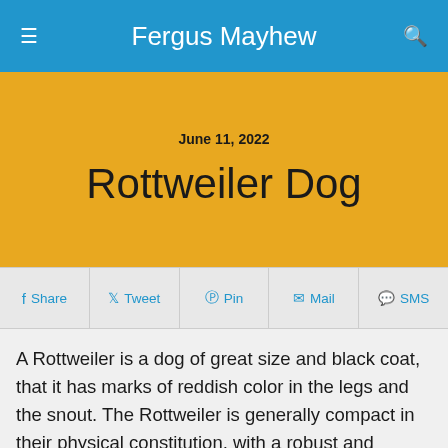Fergus Mayhew
June 11, 2022
Rottweiler Dog
Share  Tweet  Pin  Mail  SMS
A Rottweiler is a dog of great size and black coat, that it has marks of reddish color in the legs and the snout. The Rottweiler is generally compact in their physical constitution, with a robust and fornida structure that reaches up to 27 inches (68.5 cm) of height. Original of Germany and servant to be a pasturing dog, the Rottweiler still can be found comfortable around a